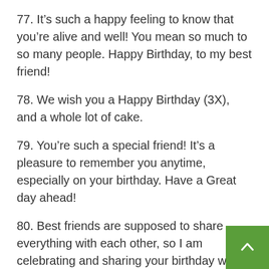77. It's such a happy feeling to know that you're alive and well! You mean so much to so many people. Happy Birthday, to my best friend!
78. We wish you a Happy Birthday (3X), and a whole lot of cake.
79. You're such a special friend! It's a pleasure to remember you anytime, especially on your birthday. Have a Great day ahead!
80. Best friends are supposed to share everything with each other, so I am celebrating and sharing your birthday with you like it's my own. I celebrate the beautiful friendship we share! Happy Birthday, buddy!
81. Birthdays come around every year, but friends